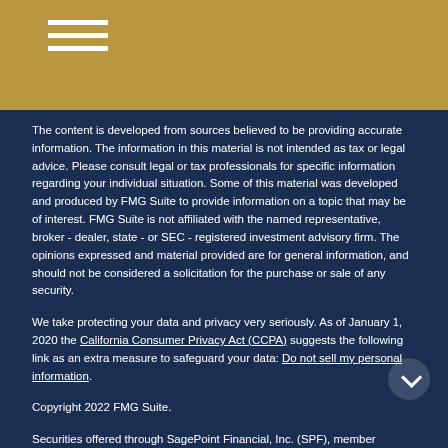The content is developed from sources believed to be providing accurate information. The information in this material is not intended as tax or legal advice. Please consult legal or tax professionals for specific information regarding your individual situation. Some of this material was developed and produced by FMG Suite to provide information on a topic that may be of interest. FMG Suite is not affiliated with the named representative, broker - dealer, state - or SEC - registered investment advisory firm. The opinions expressed and material provided are for general information, and should not be considered a solicitation for the purchase or sale of any security.
We take protecting your data and privacy very seriously. As of January 1, 2020 the California Consumer Privacy Act (CCPA) suggests the following link as an extra measure to safeguard your data: Do not sell my personal information.
Copyright 2022 FMG Suite.
Securities offered through SagePoint Financial, Inc. (SPF), member FINRA/SIPC. Investment advisory services offered through The AmeriFlex Group. SPF is separately owned and other entities and/or marketing names, products or services referenced here are independent of SPF.  SPF does not provide tax or legal advice.
This communication is strictly intended for individuals residing in the states of CA PA VA WA. No offers may be made or accepted from any resident outside the specific state(s) referenced.